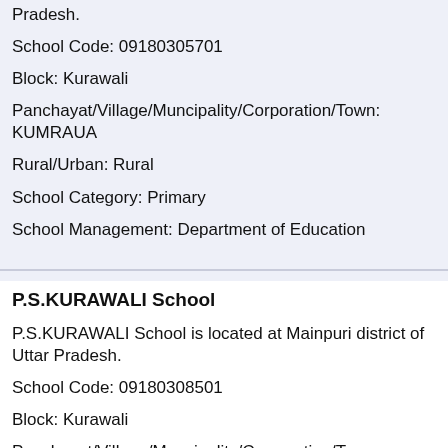Pradesh.
School Code: 09180305701
Block: Kurawali
Panchayat/Village/Muncipality/Corporation/Town: KUMRAUA
Rural/Urban: Rural
School Category: Primary
School Management: Department of Education
P.S.KURAWALI School
P.S.KURAWALI School is located at Mainpuri district of Uttar Pradesh.
School Code: 09180308501
Block: Kurawali
Panchayat/Village/Muncipality/Corporation/Town: KURAWALI
Rural/Urban: Urban